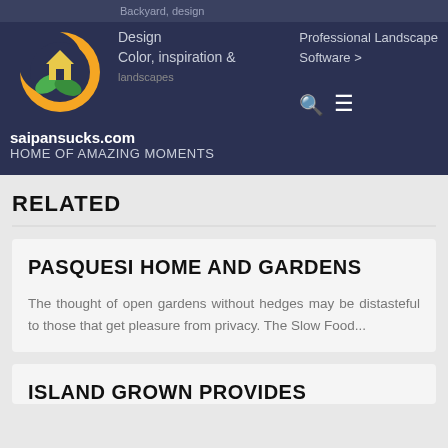[Figure (screenshot): Website header with logo (green house with leaves and orange crescent), navigation text 'Design Color, Inspiration &', 'Professional Landscape Software >', search icon, hamburger menu, site name 'saipansucks.com', tagline 'HOME OF AMAZING MOMENTS' on dark navy background]
RELATED
PASQUESI HOME AND GARDENS
The thought of open gardens without hedges may be distasteful to those that get pleasure from privacy. The Slow Food...
ISLAND GROWN PROVIDES